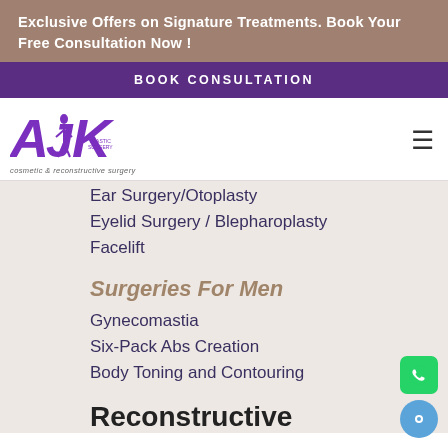Exclusive Offers on Signature Treatments. Book Your Free Consultation Now !
BOOK CONSULTATION
[Figure (logo): AK Plastic Surgery cosmetic & reconstructive surgery logo in purple]
Ear Surgery/Otoplasty
Eyelid Surgery / Blepharoplasty
Facelift
Surgeries For Men
Gynecomastia
Six-Pack Abs Creation
Body Toning and Contouring
Reconstructive